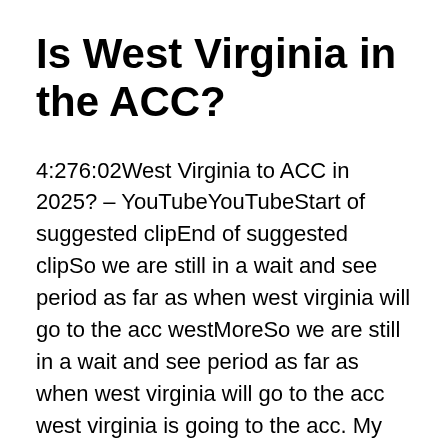Is West Virginia in the ACC?
4:276:02West Virginia to ACC in 2025? – YouTubeYouTubeStart of suggested clipEnd of suggested clipSo we are still in a wait and see period as far as when west virginia will go to the acc westMoreSo we are still in a wait and see period as far as when west virginia will go to the acc west virginia is going to the acc. My personal guess is west virginia will be an official acc member in 2025.